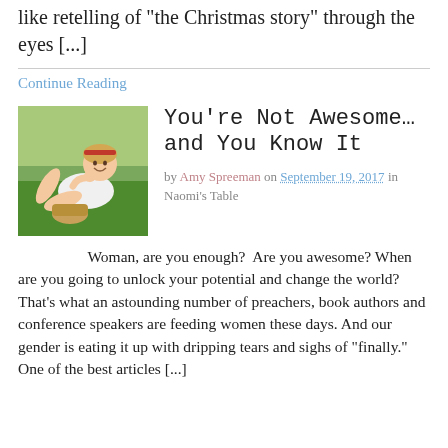What most see when Googling this movie is a Shrek like retelling of “the Christmas story” through the eyes [...]
Continue Reading
[Figure (photo): Young woman lying on grass smiling, wearing a floral headband and white top]
You’re Not Awesome… and You Know It
by Amy Spreeman on September 19, 2017 in Naomi’s Table
Woman, are you enough?  Are you awesome? When are you going to unlock your potential and change the world? That’s what an astounding number of preachers, book authors and conference speakers are feeding women these days. And our gender is eating it up with dripping tears and sighs of “finally.” One of the best articles [...]